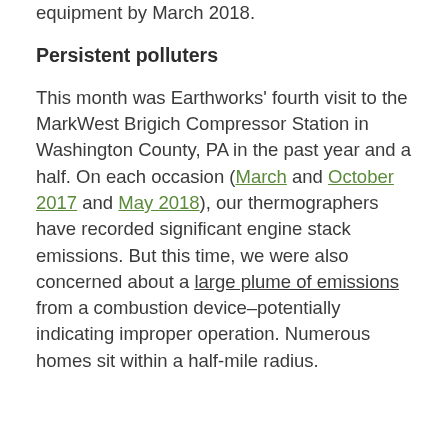equipment by March 2018.
Persistent polluters
This month was Earthworks' fourth visit to the MarkWest Brigich Compressor Station in Washington County, PA in the past year and a half. On each occasion (March and October 2017 and May 2018), our thermographers have recorded significant engine stack emissions. But this time, we were also concerned about a large plume of emissions from a combustion device–potentially indicating improper operation. Numerous homes sit within a half-mile radius.